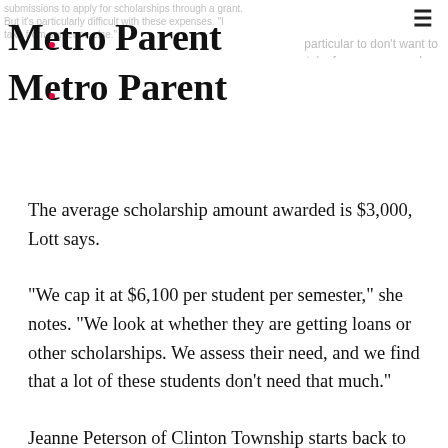Metro Parent
The average scholarship amount awarded is $3,000, Lott says.
"We cap it at $6,100 per student per semester," she notes. "We look at whether they are getting loans or other scholarships. We assess their need, and we find that a lot of these students don't need that much."
Jeanne Peterson of Clinton Township starts back to school this fall at Baker College, where she is pursuing her bachelor's degree in social work. She hasn't had to take out a loan yet and hopes that the Fostering Futures Program